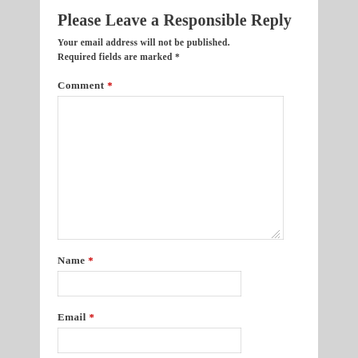Please Leave a Responsible Reply
Your email address will not be published. Required fields are marked *
Comment *
Name *
Email *
Website